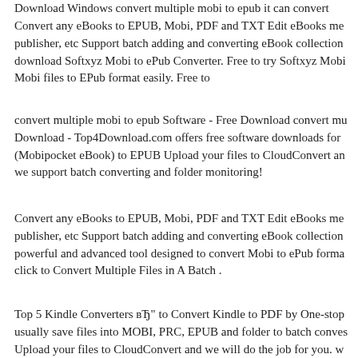Convert any eBooks to EPUB, Mobi, PDF and TXT Edit eBooks me publisher, etc Support batch adding and converting eBook collection download Softxyz Mobi to ePub Converter. Free to try Softxyz Mobi Mobi files to EPub format easily. Free to
convert multiple mobi to epub Software - Free Download convert mu Download - Top4Download.com offers free software downloads for (Mobipocket eBook) to EPUB Upload your files to CloudConvert an we support batch converting and folder monitoring!
Convert any eBooks to EPUB, Mobi, PDF and TXT Edit eBooks me publisher, etc Support batch adding and converting eBook collection powerful and advanced tool designed to convert Mobi to ePub forma click to Convert Multiple Files in A Batch .
Top 5 Kindle Converters вЂ" to Convert Kindle to PDF by One-stop usually save files into MOBI, PRC, EPUB and folder to batch conves Upload your files to CloudConvert and we will do the job for you. w